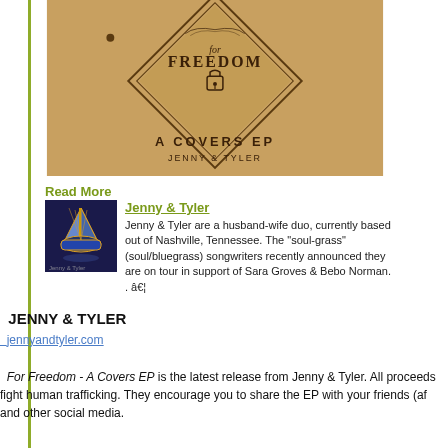[Figure (photo): Album cover for 'For Freedom - A Covers EP' by Jenny & Tyler. Brown kraft paper textured background with an ornate diamond-shaped logo containing the words 'for FREEDOM' and a padlock icon, text 'A COVERS EP JENNY & TYLER' below.]
Read More
[Figure (photo): Small thumbnail image of a stained glass ship artwork, associated with Jenny & Tyler]
Jenny & Tyler
Jenny & Tyler are a husband-wife duo, currently based out of Nashville, Tennessee. The "soul-grass" (soul/bluegrass) songwriters recently announced they are on tour in support of Sara Groves & Bebo Norman. . â€¦
JENNY & TYLER
jennyandtyler.com
For Freedom - A Covers EP is the latest release from Jenny & Tyler. All proceeds fight human trafficking. They encourage you to share the EP with your friends (af and other social media.